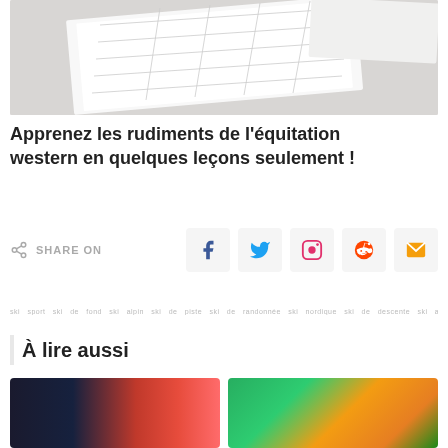[Figure (photo): A calendar or weekly planner sheet on a white surface, viewed from above at an angle, with another white paper partially visible.]
Apprenez les rudiments de l'équitation western en quelques leçons seulement !
SHARE ON [Facebook] [Twitter] [Pinterest] [Reddit] [Email]
tag row with multiple small tags
À lire aussi
[Figure (photo): A motion-blurred photo of a train or vehicle with red and white streaks, suggesting fast movement.]
[Figure (photo): A close-up photo of green foliage with an orange element, possibly an animal or fruit.]